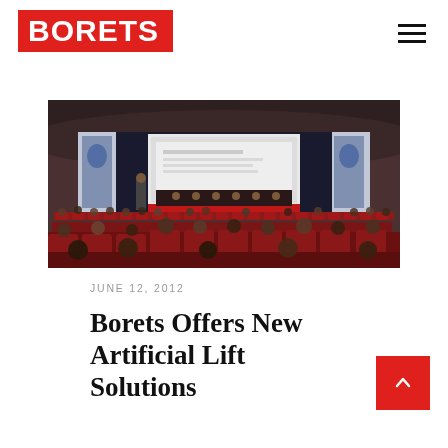BORETS
[Figure (photo): Conference hall with audience seated in red chairs watching a presentation on a large screen. A panel of speakers sits at a table on the stage. Borets branded banners are visible on both sides of the stage.]
JUNE 12, 2012
Borets Offers New Artificial Lift Solutions